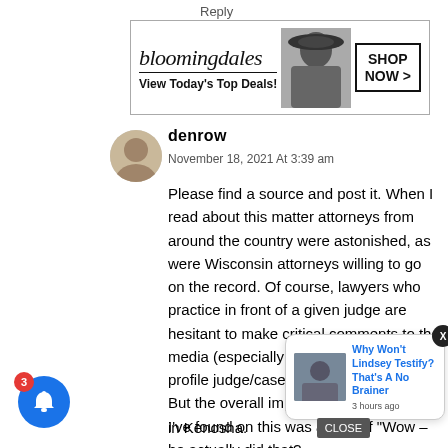Reply
[Figure (screenshot): Bloomingdale's advertisement banner: 'bloomingdales - View Today's Top Deals!' with a woman in a hat and 'SHOP NOW >' button]
denrow
November 18, 2021 At 3:39 am
Please find a source and post it. When I read about this matter attorneys from around the country were astonished, as were Wisconsin attorneys willing to go on the record. Of course, lawyers who practice in front of a given judge are hesitant to make critical comments to the media (especially regarding a high profile judge/case) for obvious reasons. But the overall impression the coverage I've found on this was a kind of "Wow – he actually did that? typ tha in Kenosha.
[Figure (screenshot): Popup notification card: 'Why Won't Lindsey Testify? That's A No Brainer - 3 hours ago' with thumbnail image of a man in a suit, X close button, and CLOSE button]
[Figure (screenshot): Blue circle bell notification icon with red badge showing '3']